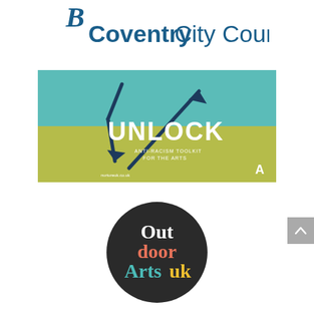[Figure (logo): Coventry City Council logo with stylized script and bold sans-serif text reading 'Coventry City Council']
[Figure (logo): UNLOCK Anti-Racism Toolkit for the Arts banner with teal and olive green background, two arrows pointing diagonally, bold white text 'UNLOCK' and subtitle 'ANTI-RACISM TOOLKIT FOR THE ARTS']
[Figure (logo): Outdoor Arts UK circular logo: dark circle with white 'Out', coral/pink 'door', teal 'Arts', yellow 'uk' text]